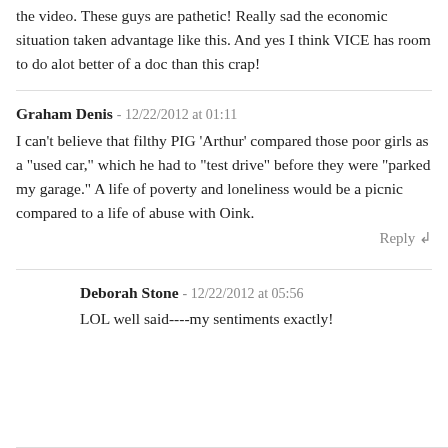the video. These guys are pathetic! Really sad the economic situation taken advantage like this. And yes I think VICE has room to do alot better of a doc than this crap!
Graham Denis - 12/22/2012 at 01:11
I can't believe that filthy PIG 'Arthur' compared those poor girls as a "used car," which he had to "test drive" before they were "parked my garage." A life of poverty and loneliness would be a picnic compared to a life of abuse with Oink.
Reply ↲
Deborah Stone - 12/22/2012 at 05:56
LOL well said----my sentiments exactly!